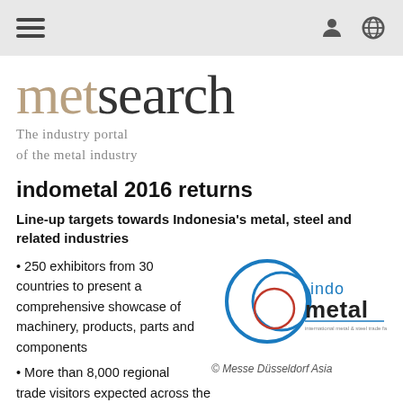metsearch navigation bar with hamburger menu and icons
[Figure (logo): metsearch logo — 'met' in beige/tan, 'search' in dark grey, tagline 'The industry portal of the metal industry' in grey]
indometal 2016 returns
Line-up targets towards Indonesia's metal, steel and related industries
• 250 exhibitors from 30 countries to present a comprehensive showcase of machinery, products, parts and components
[Figure (logo): indo metal logo — blue and red overlapping circles with 'indo metal' text and subtitle 'international metal & steel trade fair for southeast asia']
© Messe Düsseldorf Asia
• More than 8,000 regional trade visitors expected across the